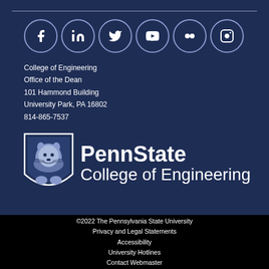[Figure (infographic): Social media icons in circles: Facebook, LinkedIn, Twitter, YouTube, Flickr, Instagram on dark navy background]
College of Engineering
Office of the Dean
101 Hammond Building
University Park, PA 16802
814-865-7537
[Figure (logo): Penn State College of Engineering logo with lion mascot shield and text PennState College of Engineering]
©2022 The Pennsylvania State University
Privacy and Legal Statements
Accessibility
University Hotlines
Contact Webmaster